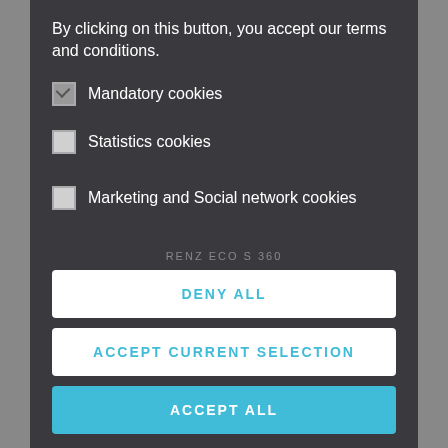By clicking on this button, you accept our terms and conditions.
Mandatory cookies (checked)
Statistics cookies (unchecked)
Marketing and Social network cookies (unchecked)
[Figure (screenshot): Cookie consent dialog overlay on a product page showing RENZ ECO S 360 binding machine]
DENY ALL
ACCEPT CURRENT SELECTION
ACCEPT ALL